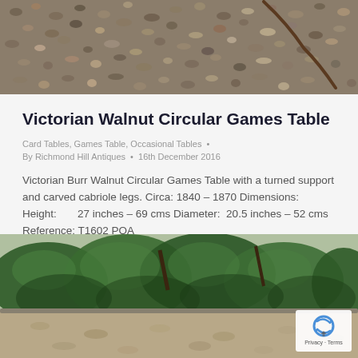[Figure (photo): Gravel/pebble ground surface photo, top portion of page]
Victorian Walnut Circular Games Table
Card Tables, Games Table, Occasional Tables  •
By Richmond Hill Antiques  •  16th December 2016
Victorian Burr Walnut Circular Games Table with a turned support and carved cabriole legs. Circa: 1840 – 1870 Dimensions: Height:       27 inches – 69 cms Diameter:  20.5 inches – 52 cms Reference: T1602 POA
[Figure (photo): Outdoor garden/shrubbery scene with green bushes and paved path, bottom portion of page]